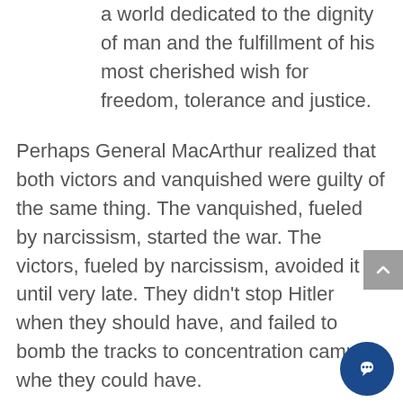a world dedicated to the dignity of man and the fulfillment of his most cherished wish for freedom, tolerance and justice.
Perhaps General MacArthur realized that both victors and vanquished were guilty of the same thing. The vanquished, fueled by narcissism, started the war. The victors, fueled by narcissism, avoided it until very late. They didn't stop Hitler when they should have, and failed to bomb the tracks to concentration camps when they could have.